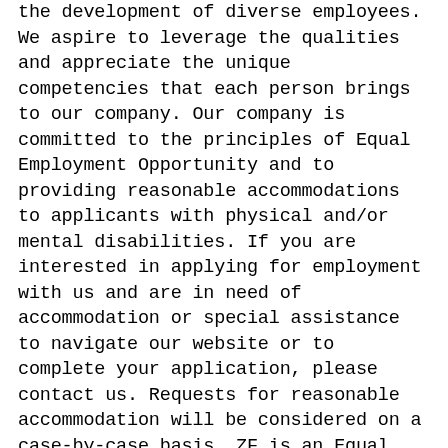the development of diverse employees. We aspire to leverage the qualities and appreciate the unique competencies that each person brings to our company. Our company is committed to the principles of Equal Employment Opportunity and to providing reasonable accommodations to applicants with physical and/or mental disabilities. If you are interested in applying for employment with us and are in need of accommodation or special assistance to navigate our website or to complete your application, please contact us. Requests for reasonable accommodation will be considered on a case-by-case basis. ZF is an Equal Opportunity and Affirmative Action Employer and is committed to ensuring equal employment opportunities for all job applicants and employees. Employment decisions are based upon job-related reasons regardless of an applicant's race, color, religion, sex, sexual orientation, gender identity, age, national origin, disability, marital status, genetic information,